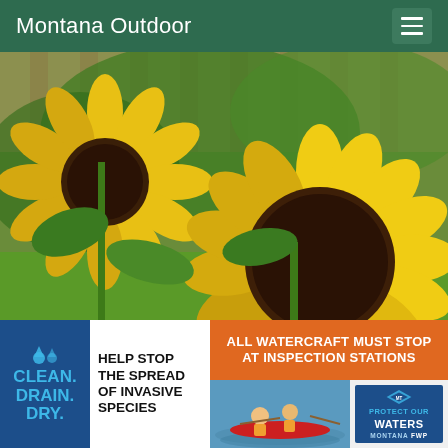Montana Outdoor
[Figure (photo): Close-up photograph of large sunflowers with yellow petals and dark brown centers, with green foliage and a wooden fence in the background]
[Figure (infographic): Clean. Drain. Dry. campaign banner with blue background and text about helping stop the spread of invasive species, alongside a watercraft inspection stations notice in orange]
[Figure (photo): Two people in a red kayak on water, with a Protect Our Waters Montana FWP badge]
HELP STOP THE SPREAD OF INVASIVE SPECIES
ALL WATERCRAFT MUST STOP AT INSPECTION STATIONS
PROTECT OUR WATERS MONTANA FWP